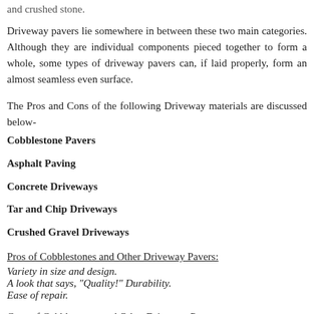and crushed stone.
Driveway pavers lie somewhere in between these two main categories. Although they are individual components pieced together to form a whole, some types of driveway pavers can, if laid properly, form an almost seamless even surface.
The Pros and Cons of the following Driveway materials are discussed below-
Cobblestone Pavers
Asphalt Paving
Concrete Driveways
Tar and Chip Driveways
Crushed Gravel Driveways
Pros of Cobblestones and Other Driveway Pavers:
Variety in size and design.
A look that says, "Quality!" Durability.
Ease of repair.
Cons of Cobblestones and Other Driveway Pavers:
Cost.
Driveway pavers were varied in size and